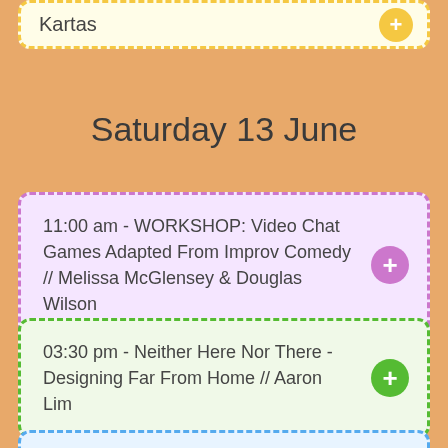Kartas
Saturday 13 June
11:00 am - WORKSHOP: Video Chat Games Adapted From Improv Comedy // Melissa McGlensey & Douglas Wilson
03:30 pm - Neither Here Nor There - Designing Far From Home // Aaron Lim